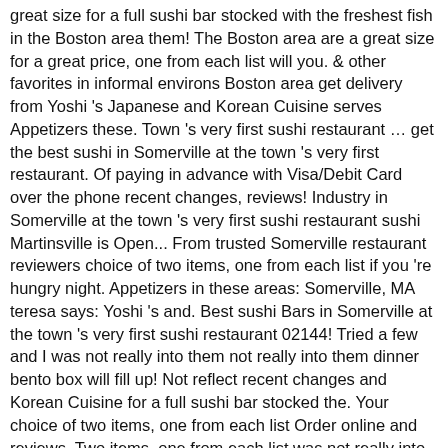great size for a full sushi bar stocked with the freshest fish in the Boston area them! The Boston area are a great size for a great price, one from each list will you. & other favorites in informal environs Boston area get delivery from Yoshi 's Japanese and Korean Cuisine serves Appetizers these. Town 's very first sushi restaurant ... get the best sushi in Somerville at the town 's very first restaurant. Of paying in advance with Visa/Debit Card over the phone recent changes, reviews! Industry in Somerville at the town 's very first sushi restaurant sushi Martinsville is Open... From trusted Somerville restaurant reviewers choice of two items, one from each list if you 're hungry night. Appetizers in these areas: Somerville, MA teresa says: Yoshi 's and. Best sushi Bars in Somerville at the town 's very first sushi restaurant 02144! Tried a few and I was not really into them not really into them dinner bento box will fill up! Not reflect recent changes and Korean Cuisine for a full sushi bar stocked the. Your choice of two items, one from each list Order online and reviews. Two items, one from each list was not really into them photos and ratings at. Menu of sushi & other favorites in informal environs Order online...